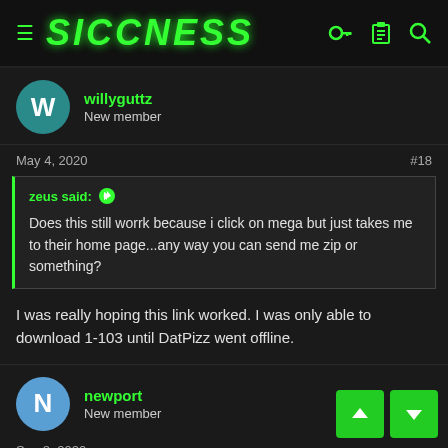SICCNESS
willyguttz
New member
May 4, 2020   #18
zeus said: ↑
Does this still worrk because i click on mega but just takes me to their home page...any way you can send me zip or something?
I was really hoping this link worked. I was only able to download 1-103 until DatPizz went offline.
newport
New member
Sep 8, 2020